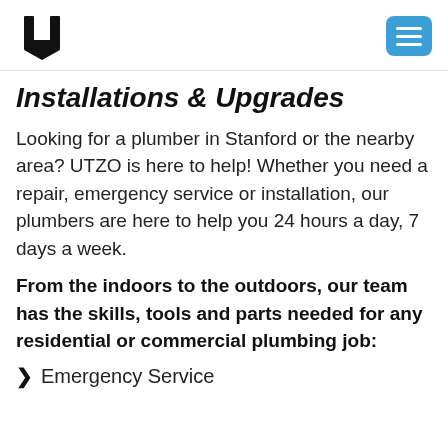UTZO logo and navigation menu button
Installations & Upgrades
Looking for a plumber in Stanford or the nearby area? UTZO is here to help! Whether you need a repair, emergency service or installation, our plumbers are here to help you 24 hours a day, 7 days a week.
From the indoors to the outdoors, our team has the skills, tools and parts needed for any residential or commercial plumbing job:
Emergency Service